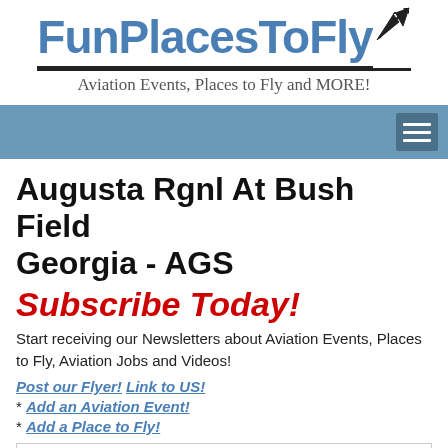FunPlacesToFly
Aviation Events, Places to Fly and MORE!
Augusta Rgnl At Bush Field Georgia - AGS
Subscribe Today!
Start receiving our Newsletters about Aviation Events, Places to Fly, Aviation Jobs and Videos!
Post our Flyer! Link to US!
* Add an Aviation Event!
* Add a Place to Fly!